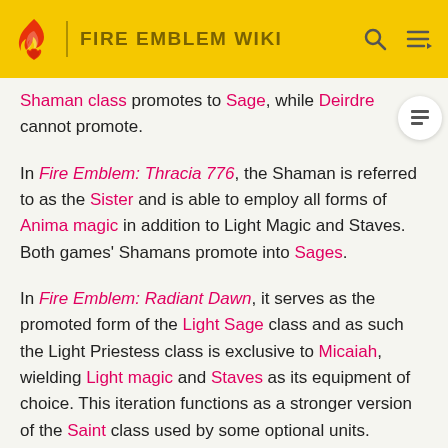FIRE EMBLEM WIKI
Shaman class promotes to Sage, while Deirdre cannot promote.
In Fire Emblem: Thracia 776, the Shaman is referred to as the Sister and is able to employ all forms of Anima magic in addition to Light Magic and Staves. Both games' Shamans promote into Sages.
In Fire Emblem: Radiant Dawn, it serves as the promoted form of the Light Sage class and as such the Light Priestess class is exclusive to Micaiah, wielding Light magic and Staves as its equipment of choice. This iteration functions as a stronger version of the Saint class used by some optional units.